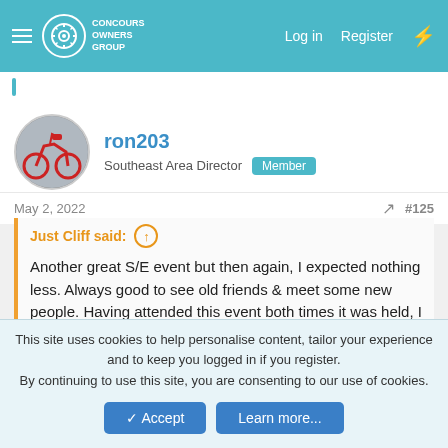Concours Owners Group — Log in | Register
ron203
Southeast Area Director  Member
May 2, 2022  #125
Just Cliff said:
Another great S/E event but then again, I expected nothing less. Always good to see old friends & meet some new people. Having attended this event both times it was held, I think it should be held more often than every 4 years. What say the S/E bosses?

Job well done & a big thanks to everyone that had a hand in it! 😊
This site uses cookies to help personalise content, tailor your experience and to keep you logged in if you register.
By continuing to use this site, you are consenting to our use of cookies.